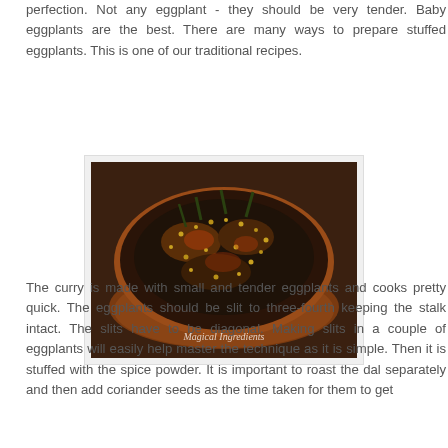perfection. Not any eggplant - they should be very tender. Baby eggplants are the best. There are many ways to prepare stuffed eggplants. This is one of our traditional recipes.
[Figure (photo): A round copper/clay pan filled with stuffed baby eggplants cooked in spices, photographed from above. Watermark reads 'Magical Ingredients' in cursive at the bottom center.]
The curry is made with small and tender eggplants and cooks pretty quick. The eggplants should be slit to three-fourth keeping the stalk intact. The slits have to be diagonal. Making slits in a couple of eggplants will easily help master the technique as it is simple. Then it is stuffed with the spice powder. It is important to roast the dal separately and then add coriander seeds as the time taken for them to get